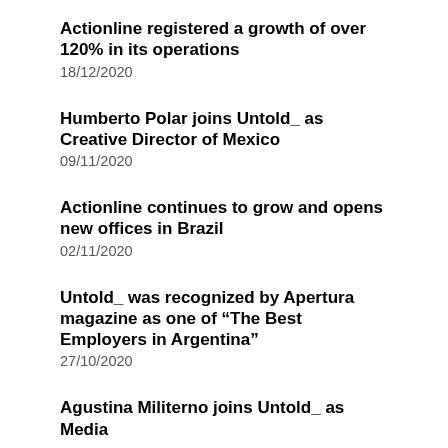Actionline registered a growth of over 120% in its operations
18/12/2020
Humberto Polar joins Untold_ as Creative Director of Mexico
09/11/2020
Actionline continues to grow and opens new offices in Brazil
02/11/2020
Untold_ was recognized by Apertura magazine as one of “The Best Employers in Argentina”
27/10/2020
Agustina Militerno joins Untold_ as Media